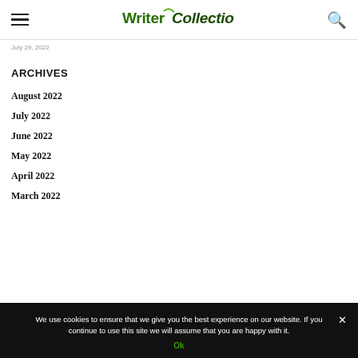WriterCollection
July 29, 2022
ARCHIVES
August 2022
July 2022
June 2022
May 2022
April 2022
March 2022
We use cookies to ensure that we give you the best experience on our website. If you continue to use this site we will assume that you are happy with it.
Ok